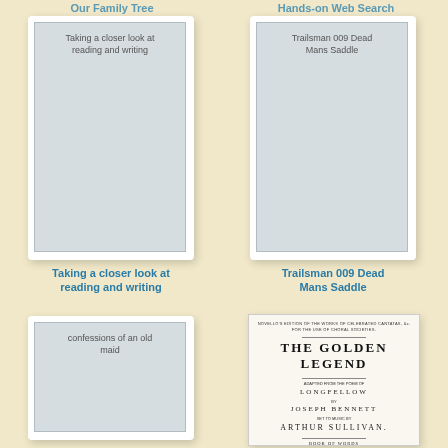Our Family Tree
Hands-on Web Search
[Figure (illustration): Book cover placeholder: Taking a closer look at reading and writing]
Taking a closer look at reading and writing
[Figure (illustration): Book cover placeholder: Trailsman 009 Dead Mans Saddle]
Trailsman 009 Dead Mans Saddle
[Figure (illustration): Book cover placeholder: confessions of an old maid]
[Figure (illustration): Book cover: THE GOLDEN LEGEND adapted from the poem of LONGFELLOW by JOSEPH BENNETT set to music by ARTHUR SULLIVAN. BOOK OF WORDS and ANALYTICAL NOTES BY JOSEPH BENNETT. Price One Shilling.]